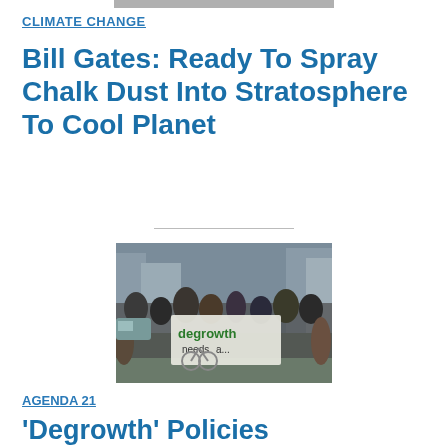[Figure (photo): Partial top image cropped at top of page]
CLIMATE CHANGE
Bill Gates: Ready To Spray Chalk Dust Into Stratosphere To Cool Planet
[Figure (photo): Street protest with crowd carrying a banner reading 'degrowth needs a...' in an urban setting]
AGENDA 21
'Degrowth' Policies Undermined With Shrinking Pandemic Economy